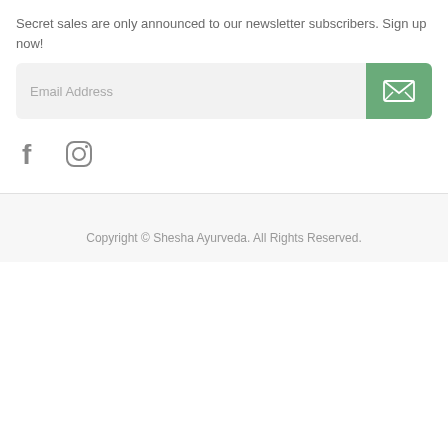Secret sales are only announced to our newsletter subscribers. Sign up now!
[Figure (infographic): Email address input field with green submit button containing envelope icon]
[Figure (infographic): Social media icons: Facebook and Instagram]
Copyright © Shesha Ayurveda. All Rights Reserved.